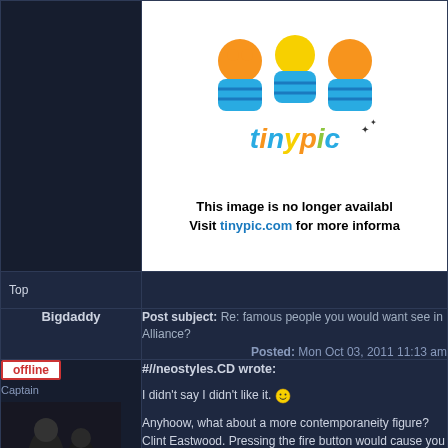[Figure (screenshot): TinyPic image placeholder showing 'This image is no longer available. Visit tinypic.com for more information.' with colorful tinypic logo.]
Top
Bigdaddy
Post subject: Re: famous people you would want see in Alliance?
Posted: Mon Oct 03, 2011 11:13 am
offline
Captain
[Figure (photo): Dark photo with text 'Homie taking your bag?']
#//neostyles.CD wrote:

I didn't say I didn't like it. :)

Anyhoow, what about a more contemporaneity figure? Clint Eastwood. Pressing the fire button would cause you to slowly raise your finger up into a gun position and say "bang", resulting in the approximate muzzle energy/ballistics of the